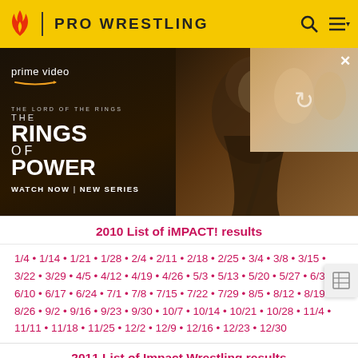PRO WRESTLING
[Figure (screenshot): Amazon Prime Video advertisement for 'The Lord of the Rings: The Rings of Power' — Watch Now | New Series]
2010 List of iMPACT! results
1/4 • 1/14 • 1/21 • 1/28 • 2/4 • 2/11 • 2/18 • 2/25 • 3/4 • 3/8 • 3/15 • 3/22 • 3/29 • 4/5 • 4/12 • 4/19 • 4/26 • 5/3 • 5/13 • 5/20 • 5/27 • 6/3 • 6/10 • 6/17 • 6/24 • 7/1 • 7/8 • 7/15 • 7/22 • 7/29 • 8/5 • 8/12 • 8/19 • 8/26 • 9/2 • 9/16 • 9/23 • 9/30 • 10/7 • 10/14 • 10/21 • 10/28 • 11/4 • 11/11 • 11/18 • 11/25 • 12/2 • 12/9 • 12/16 • 12/23 • 12/30
2011 List of Impact Wrestling results